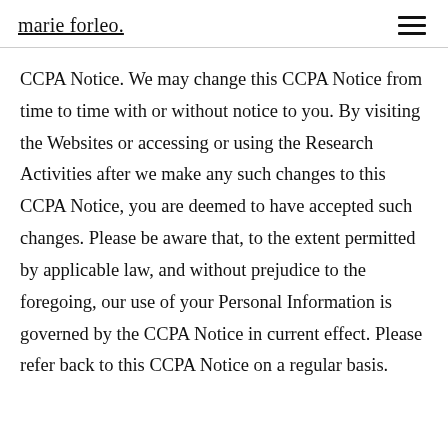marie forleo.
CCPA Notice.  We may change this CCPA Notice from time to time with or without notice to you. By visiting the Websites or accessing or using the Research Activities after we make any such changes to this CCPA Notice, you are deemed to have accepted such changes.  Please be aware that, to the extent permitted by applicable law, and without prejudice to the foregoing, our use of your Personal Information is governed by the CCPA Notice in current effect. Please refer back to this CCPA Notice on a regular basis.